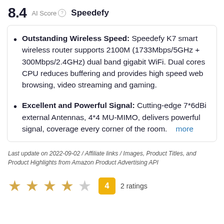8.4  AI Score  Speedefy
Outstanding Wireless Speed: Speedefy K7 smart wireless router supports 2100M (1733Mbps/5GHz + 300Mbps/2.4GHz) dual band gigabit WiFi. Dual cores CPU reduces buffering and provides high speed web browsing, video streaming and gaming.
Excellent and Powerful Signal: Cutting-edge 7*6dBi external Antennas, 4*4 MU-MIMO, delivers powerful signal, coverage every corner of the room.  more
Last update on 2022-09-02 / Affiliate links / Images, Product Titles, and Product Highlights from Amazon Product Advertising API
★ ★ ★ ★ ☆  4  2 ratings